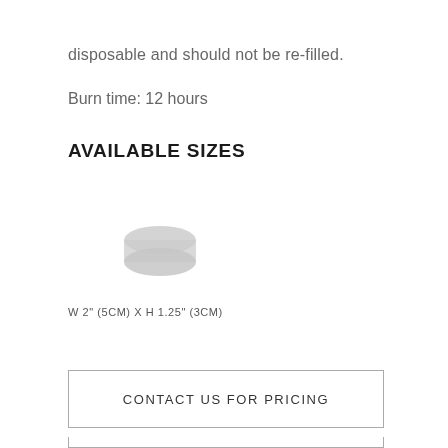disposable and should not be re-filled.
Burn time: 12 hours
AVAILABLE SIZES
[Figure (illustration): Small grey candle icon, viewed from above at a slight angle]
W 2" (5CM) X H 1.25" (3CM)
CONTACT US FOR PRICING